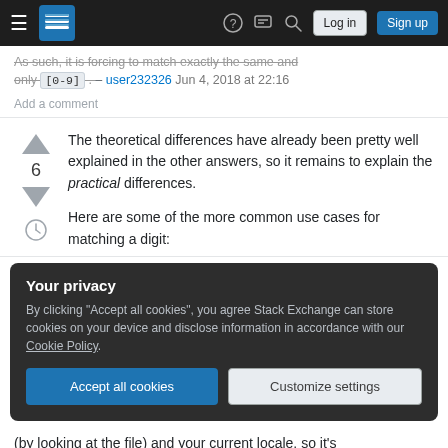Stack Exchange navigation bar with hamburger menu, logo, help, chat, search icons, Log in and Sign up buttons
As such, it is forcing to match exactly the same and only [0-9] . – user232326 Jun 4, 2018 at 22:16
Add a comment
The theoretical differences have already been pretty well explained in the other answers, so it remains to explain the practical differences.
Here are some of the more common use cases for matching a digit:
Your privacy
By clicking "Accept all cookies", you agree Stack Exchange can store cookies on your device and disclose information in accordance with our Cookie Policy.
(by looking at the file) and your current locale, so it's